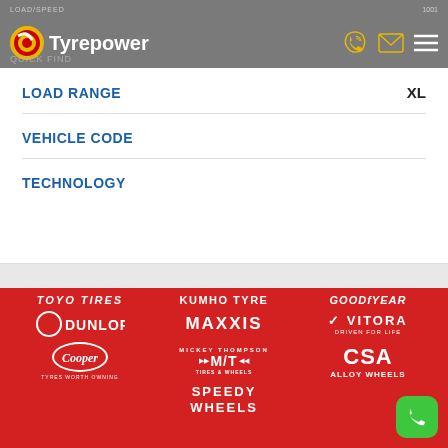Tyrepower
LOAD RANGE    XL
VEHICLE CODE
TECHNOLOGY
[Figure (logo): Grid of brand logos on red background: TOYO TIRES, KUMHO TYRE, GOODYEAR, DUNLOP, MAXXIS, VITORA, Cooper Tyres, Mickey Thompson M/T Tires & Wheels, CSA Alloy Wheels, Speedy Wheels]